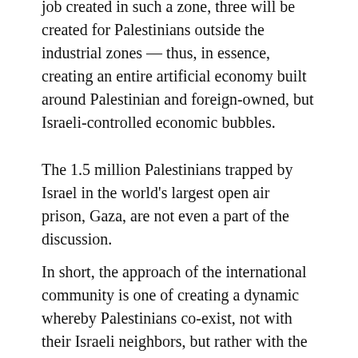job created in such a zone, three will be created for Palestinians outside the industrial zones — thus, in essence, creating an entire artificial economy built around Palestinian and foreign-owned, but Israeli-controlled economic bubbles.
The 1.5 million Palestinians trapped by Israel in the world's largest open air prison, Gaza, are not even a part of the discussion.
In short, the approach of the international community is one of creating a dynamic whereby Palestinians co-exist, not with their Israeli neighbors, but rather with the system of Israeli military occupation, or put simply, sugar coating the status quo which benefits Israel.
What the international community fails to mention is that the dynamic on the ground is explosive. The Israeli military occupation is alive and well and causing structural, possibly irrevocable damage to Palestinian lands and persons. The